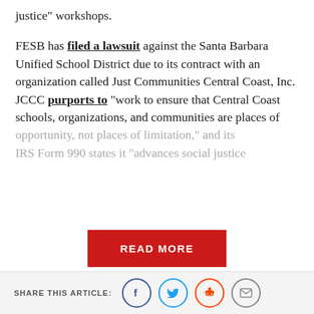justice” workshops.
FESB has filed a lawsuit against the Santa Barbara Unified School District due to its contract with an organization called Just Communities Central Coast, Inc. JCCC purports to “work to ensure that Central Coast schools, organizations, and communities are places of opportunity, not places of limitation,” and its IRS Form 990 states it “advances social justice
READ MORE
MORE ARTICLES FROM THE COLLEGE FIX
SHARE THIS ARTICLE: